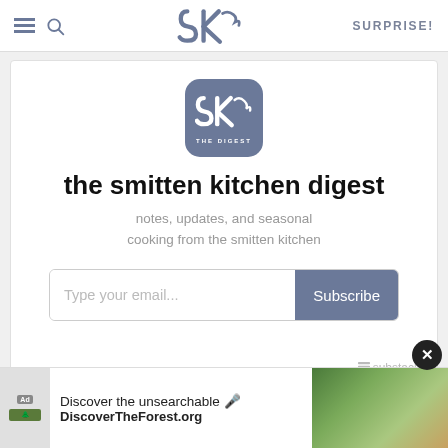SK — SURPRISE!
[Figure (logo): Smitten Kitchen SK digest logo — square icon with rounded corners, slate blue background, white SK stylized letters, THE DIGEST label beneath]
the smitten kitchen digest
notes, updates, and seasonal cooking from the smitten kitchen
Type your email... Subscribe
substack
Discover the unsearchable DiscoverTheForest.org